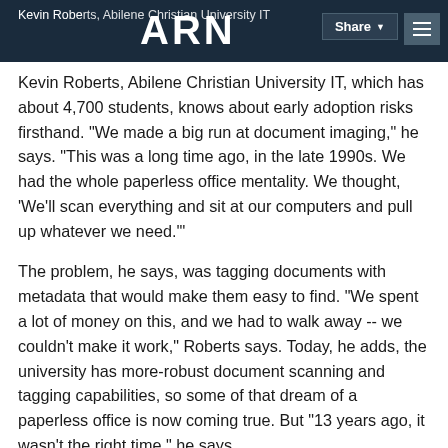ARN | Kevin Roberts, Abilene Christian University IT — Share
Kevin Roberts, Abilene Christian University IT, which has about 4,700 students, knows about early adoption risks firsthand. "We made a big run at document imaging," he says. "This was a long time ago, in the late 1990s. We had the whole paperless office mentality. We thought, 'We'll scan everything and sit at our computers and pull up whatever we need.'"
The problem, he says, was tagging documents with metadata that would make them easy to find. "We spent a lot of money on this, and we had to walk away -- we couldn't make it work," Roberts says. Today, he adds, the university has more-robust document scanning and tagging capabilities, so some of that dream of a paperless office is now coming true. But "13 years ago, it wasn't the right time," he says.